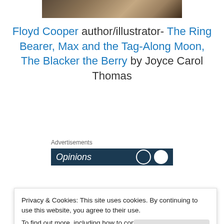[Figure (photo): Partial photo at top of page, cropped image showing a person or scene]
Floyd Cooper author/illustrator- The Ring Bearer, Max and the Tag-Along Moon, The Blacker the Berry by Joyce Carol Thomas
[Figure (screenshot): Advertisement banner with dark navy background showing 'Opinions' text with circular design elements]
[Figure (photo): Partial photo at bottom showing trees or nature scene with dark border]
Privacy & Cookies: This site uses cookies. By continuing to use this website, you agree to their use.
To find out more, including how to control cookies, see here: Cookie Policy
Close and accept